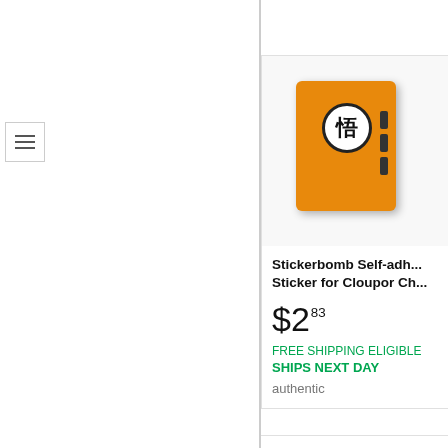[Figure (screenshot): E-commerce product listing page showing a Dragon Ball Z themed Stickerbomb self-adhesive sticker for Cloupor device. Product image shows an orange box with the kanji symbol for 'enlightenment' in a circle. Price listed as $2.83. Green text reads FREE SHIPPING ELIGIBLE and SHIPS NEXT DAY. Description text says 'authentic'.]
Stickerbomb Self-adh... Sticker for Cloupor Ch...
$2.83
FREE SHIPPING ELIGIBLE
SHIPS NEXT DAY
authentic